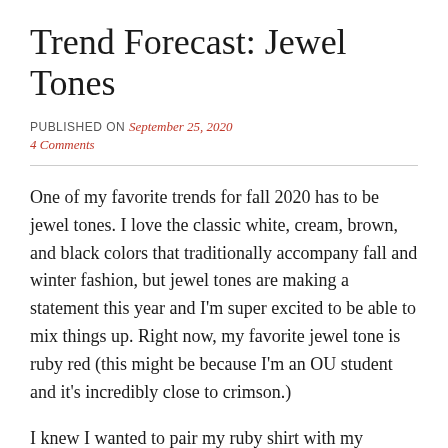Trend Forecast: Jewel Tones
PUBLISHED ON September 25, 2020
4 Comments
One of my favorite trends for fall 2020 has to be jewel tones. I love the classic white, cream, brown, and black colors that traditionally accompany fall and winter fashion, but jewel tones are making a statement this year and I'm super excited to be able to mix things up. Right now, my favorite jewel tone is ruby red (this might be because I'm an OU student and it's incredibly close to crimson.)
I knew I wanted to pair my ruby shirt with my pleated skirt because the plaid pattern also has red in it. A match made in heaven! Since the pleated skirt already has a